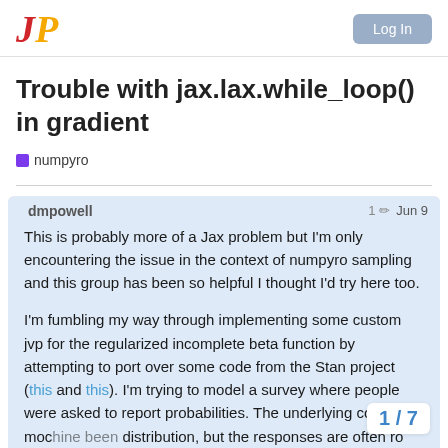JP logo and Log In button
Trouble with jax.lax.while_loop() in gradient
numpyro
dmpowell  1  Jun 9
This is probably more of a Jax problem but I'm only encountering the issue in the context of numpyro sampling and this group has been so helpful I thought I'd try here too.
I'm fumbling my way through implementing some custom jvp for the regularized incomplete beta function by attempting to port over some code from the Stan project (this and this). I'm trying to model a survey where people were asked to report probabilities. The underlying cognitive mod distribution, but the responses are often ro to implement the Beta CDF relate to the g...
1 / 7